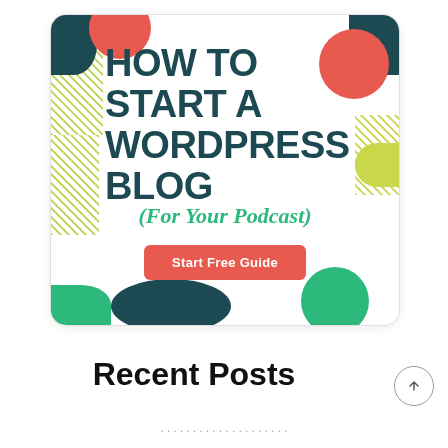[Figure (illustration): Promotional banner with colorful blobs/shapes on white card. Large bold dark teal text reads 'HOW TO START A WORDPRESS BLOG', green italic text below reads '(For Your Podcast)', and a red button labeled 'Start Free Guide'.]
Recent Posts
...